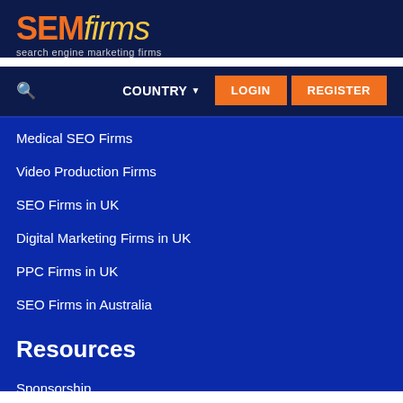[Figure (logo): SEMfirms logo - 'SEM' in orange bold, 'firms' in yellow italic, tagline 'search engine marketing firms' in grey below]
COUNTRY ▾  LOGIN  REGISTER
Medical SEO Firms
Video Production Firms
SEO Firms in UK
Digital Marketing Firms in UK
PPC Firms in UK
SEO Firms in Australia
Resources
Sponsorship
Download Logo & Badge
Apply For Sponsorship